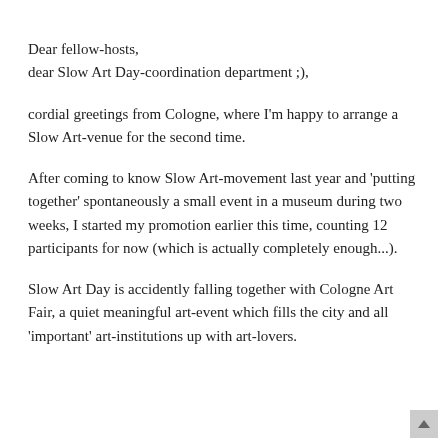Dear fellow-hosts,
dear Slow Art Day-coordination department ;),
cordial greetings from Cologne, where I'm happy to arrange a Slow Art-venue for the second time.
After coming to know Slow Art-movement last year and 'putting together' spontaneously a small event in a museum during two weeks, I started my promotion earlier this time, counting 12 participants for now (which is actually completely enough...).
Slow Art Day is accidently falling together with Cologne Art Fair, a quiet meaningful art-event which fills the city and all 'important' art-institutions up with art-lovers.